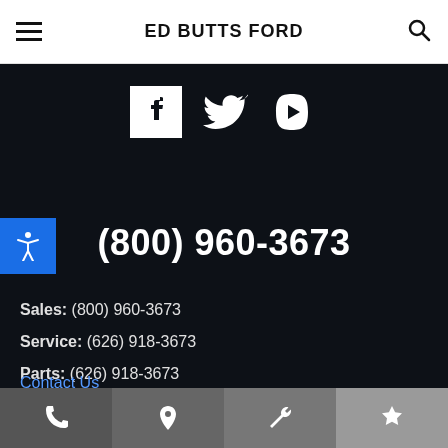ED BUTTS FORD
[Figure (other): Social media icons: Facebook, Twitter, YouTube on dark background]
(800) 960-3673
Sales: (800) 960-3673
Service: (626) 918-3673
Parts: (626) 918-3673
Contact Us
Showroom:
Phone | Location | Service | Favorites